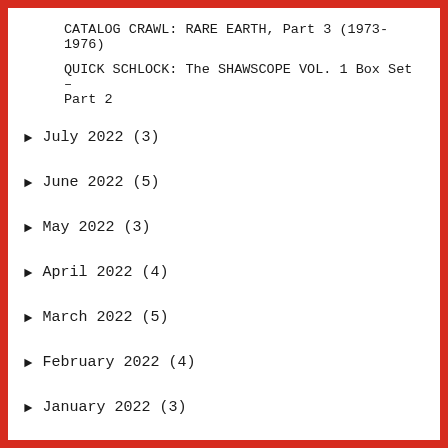CATALOG CRAWL: RARE EARTH, Part 3 (1973-1976)
QUICK SCHLOCK: The SHAWSCOPE VOL. 1 Box Set – Part 2
► July 2022 (3)
► June 2022 (5)
► May 2022 (3)
► April 2022 (4)
► March 2022 (5)
► February 2022 (4)
► January 2022 (3)